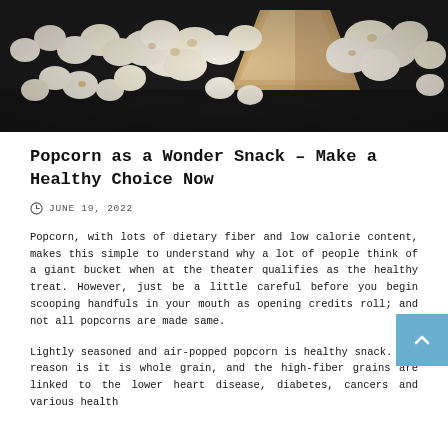[Figure (photo): A photo of popcorn spilling from a paper bag onto a dark wooden surface]
Popcorn as a Wonder Snack – Make a Healthy Choice Now
JUNE 19, 2022
Popcorn, with lots of dietary fiber and low calorie content, makes this simple to understand why a lot of people think of a giant bucket when at the theater qualifies as the healthy treat. However, just be a little careful before you begin scooping handfuls in your mouth as opening credits roll; and not all popcorns are made same.
Lightly seasoned and air-popped popcorn is healthy snack. The reason is it is whole grain, and the high-fiber grains are linked to the lower heart disease, diabetes, cancers and various health